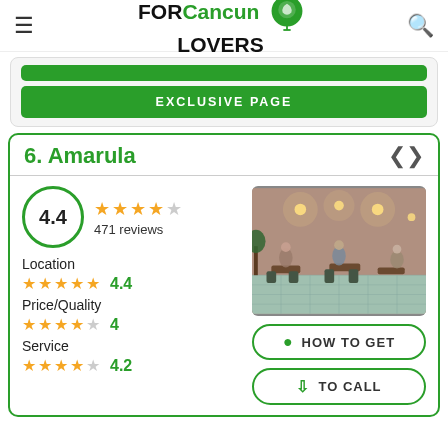FOR Cancun LOVERS
EXCLUSIVE PAGE
6. Amarula
4.4 — 471 reviews
Location 4.4
Price/Quality 4
Service 4.2
[Figure (photo): Interior of Amarula venue with people dining, warm lighting, and tiled floor]
HOW TO GET
TO CALL